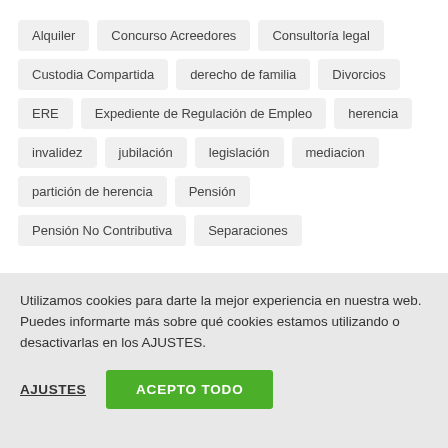Alquiler
Concurso Acreedores
Consultoría legal
Custodia Compartida
derecho de familia
Divorcios
ERE
Expediente de Regulación de Empleo
herencia
invalidez
jubilación
legislación
mediacion
partición de herencia
Pensión
Pensión No Contributiva
Separaciones
Utilizamos cookies para darte la mejor experiencia en nuestra web. Puedes informarte más sobre qué cookies estamos utilizando o desactivarlas en los AJUSTES.
AJUSTES   ACEPTO TODO